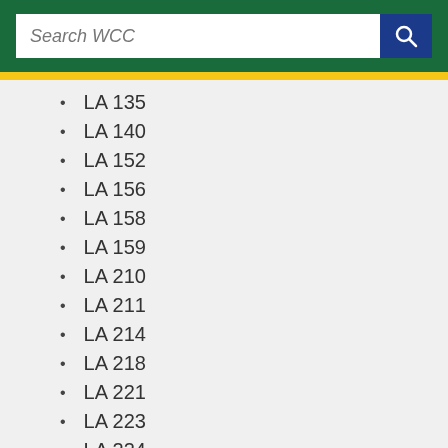Search WCC
LA 135
LA 140
LA 152
LA 156
LA 158
LA 159
LA 210
LA 211
LA 214
LA 218
LA 221
LA 223
LA 224
LA 225
LA 227
LA 229